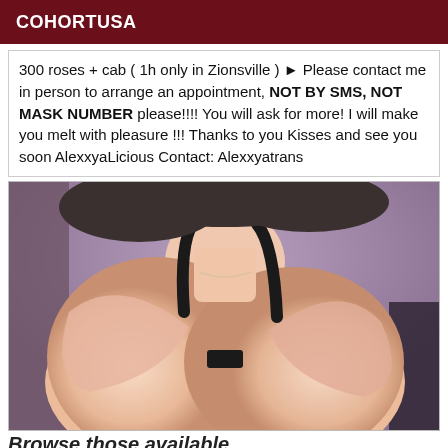COHORTUSA
300 roses + cab ( 1h only in Zionsville ) ► Please contact me in person to arrange an appointment, NOT BY SMS, NOT MASK NUMBER please!!!! You will ask for more! I will make you melt with pleasure !!! Thanks to you Kisses and see you soon AlexxyaLicious Contact: Alexxyatrans
[Figure (photo): Photo of a person wearing a light pink/peach bra, torso visible, taken indoors]
Browse those available...